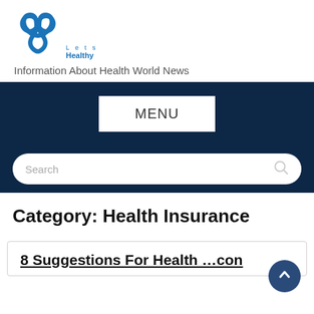[Figure (logo): Lets Healthy website logo: blue infinity/clover knot icon with text 'Lets Healthy']
Information About Health World News
MENU
Search
Category: Health Insurance
8 Suggestions For Health…con